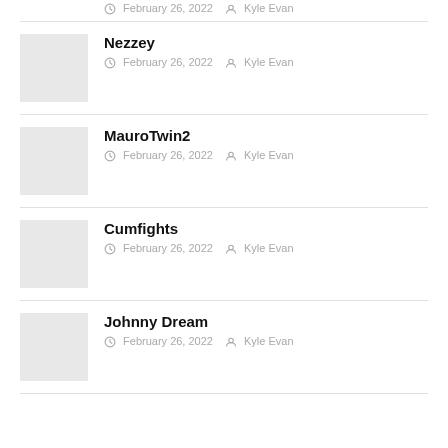February 26, 2022   Kyle Evan
Nezzey
February 26, 2022   Kyle Evan
MauroTwin2
February 26, 2022   Kyle Evan
Cumfights
February 26, 2022   Kyle Evan
Johnny Dream
February 26, 2022   Kyle Evan